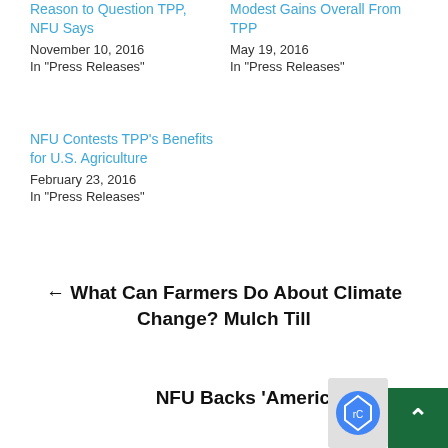Reason to Question TPP, NFU Says
November 10, 2016
In "Press Releases"
Modest Gains Overall From TPP
May 19, 2016
In "Press Releases"
NFU Contests TPP's Benefits for U.S. Agriculture
February 23, 2016
In "Press Releases"
← What Can Farmers Do About Climate Change? Mulch Till
NFU Backs ‘American Food for American Schools’ Legislation →